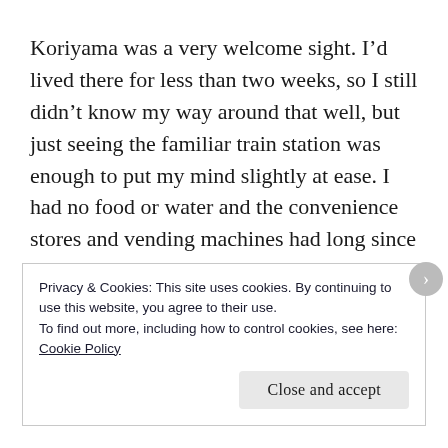Koriyama was a very welcome sight. I’d lived there for less than two weeks, so I still didn’t know my way around that well, but just seeing the familiar train station was enough to put my mind slightly at ease. I had no food or water and the convenience stores and vending machines had long since run out of stock. A good point of not having lived in my apartment for long was that I didn’t have much in there that could get damaged! The washing machine had fallen over, the
Privacy & Cookies: This site uses cookies. By continuing to use this website, you agree to their use.
To find out more, including how to control cookies, see here:
Cookie Policy
Close and accept